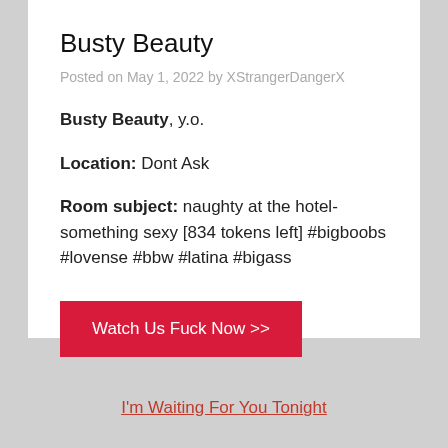Busty Beauty
Posted on May 1, 2022 by XStrangerDangerX
Busty Beauty, y.o.
Location: Dont Ask
Room subject: naughty at the hotel-something sexy [834 tokens left] #bigboobs #lovense #bbw #latina #bigass
Watch Us Fuck Now >>
I'm Waiting For You Tonight